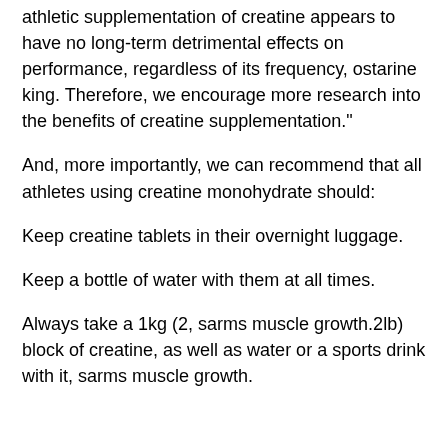athletic supplementation of creatine appears to have no long-term detrimental effects on performance, regardless of its frequency, ostarine king. Therefore, we encourage more research into the benefits of creatine supplementation."
And, more importantly, we can recommend that all athletes using creatine monohydrate should:
Keep creatine tablets in their overnight luggage.
Keep a bottle of water with them at all times.
Always take a 1kg (2, sarms muscle growth.2lb) block of creatine, as well as water or a sports drink with it, sarms muscle growth.